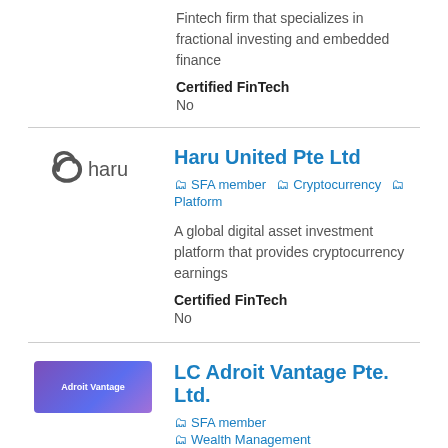Fintech firm that specializes in fractional investing and embedded finance
Certified FinTech
No
Haru United Pte Ltd
SFA member | Cryptocurrency | Platform
A global digital asset investment platform that provides cryptocurrency earnings
Certified FinTech
No
LC Adroit Vantage Pte. Ltd.
SFA member | Wealth Management
https://www.adroit-vantage.com/
ENABLING INTELLIGENT INVESTMENT